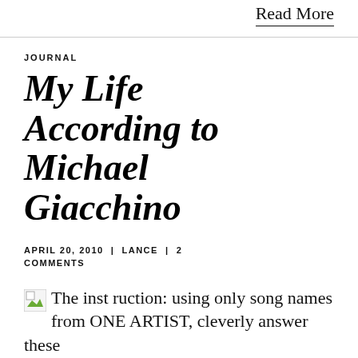Read More
JOURNAL
My Life According to Michael Giacchino
APRIL 20, 2010 | LANCE | 2 COMMENTS
[Figure (other): Broken image placeholder (thumbnail)]
The instruction: using only song names from ONE ARTIST, cleverly answer these